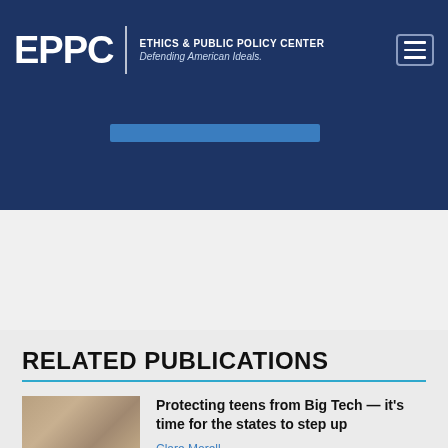EPPC | ETHICS & PUBLIC POLICY CENTER Defending American Ideals.
RELATED PUBLICATIONS
[Figure (photo): Thumbnail photo of a woman with a child looking at a tablet/phone]
Protecting teens from Big Tech — it's time for the states to step up
Clare Morell
[Figure (photo): Dark thumbnail photo of a person in low light]
'Liberated,' AKA Indulged and Miserable
Nathanael Blake